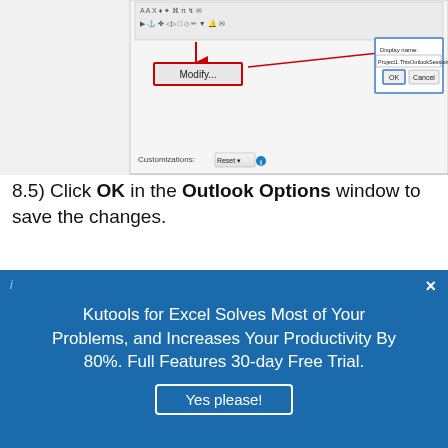[Figure (screenshot): Outlook toolbar customization dialog screenshot showing Modify button, Display name field with 'Project1.ThisOutlookSession.DatePi', and OK/Cancel buttons with red arrow annotation. Also shows Customizations Reset button row.]
8.5) Click OK in the Outlook Options window to save the changes.
[Figure (screenshot): Outlook Options dialog window showing sidebar with General, Mail, Calendar, People, Tasks, Search options, and main panel with Customize the Quick Access Toolbar section. Macros dropdown selected, list showing <Separator> and Project1.ThisOutlookSession.Dat..., and right panel showing Customize Quick Access Toolbar with Save, Undo, Redo items.]
Kutools for Excel Solves Most of Your Problems, and Increases Your Productivity By 80%. Full Features 30-day Free Trial.
Yes please!